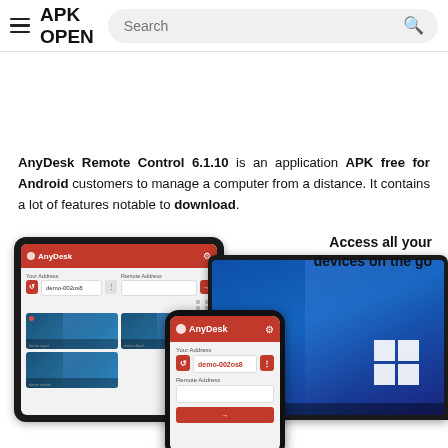APK OPEN
AnyDesk Remote Control 6.1.10 is an application APK free for Android customers to manage a computer from a distance. It contains a lot of features notable to download.
[Figure (screenshot): AnyDesk app screenshots on tablet, laptop, and phone devices with 'Access all your devices on the go' text]